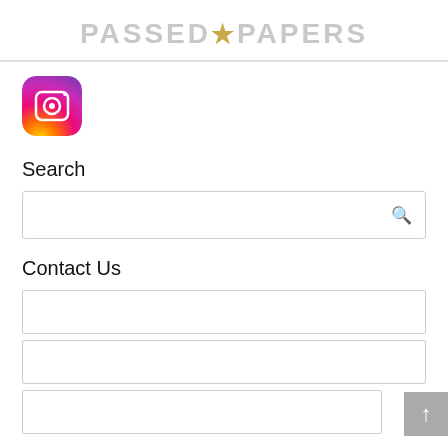PASSED★PAPERS
[Figure (logo): Instagram app icon with gradient background (purple to orange) and white camera icon]
Search
Search input field with magnifying glass icon
Contact Us
Contact form with three input fields